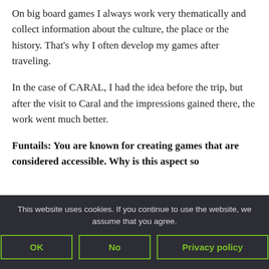On big board games I always work very thematically and collect information about the culture, the place or the history. That's why I often develop my games after traveling.
In the case of CARAL, I had the idea before the trip, but after the visit to Caral and the impressions gained there, the work went much better.
Funtails: You are known for creating games that are considered accessible. Why is this aspect so
This website uses cookies. If you continue to use the website, we assume that you agree.